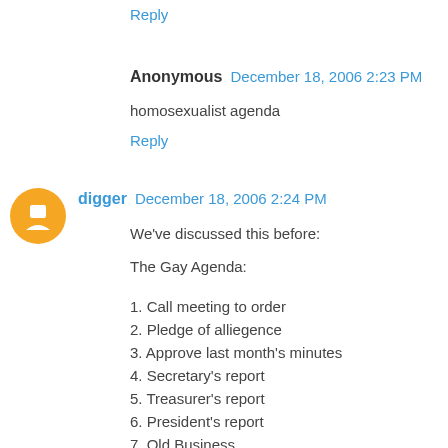Reply
Anonymous  December 18, 2006 2:23 PM
homosexualist agenda
Reply
digger  December 18, 2006 2:24 PM
We've discussed this before:
The Gay Agenda:
1. Call meeting to order
2. Pledge of alliegence
3. Approve last month's minutes
4. Secretary's report
5. Treasurer's report
6. President's report
7. Old Business